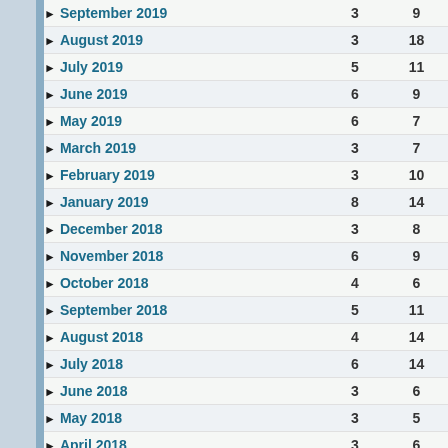September 2019  3  9
August 2019  3  18
July 2019  5  11
June 2019  6  9
May 2019  6  7
March 2019  3  7
February 2019  3  10
January 2019  8  14
December 2018  3  8
November 2018  6  9
October 2018  4  6
September 2018  5  11
August 2018  4  14
July 2018  6  14
June 2018  3  6
May 2018  3  5
April 2018  3  6
March 2018  6  9
February 2018  6  9